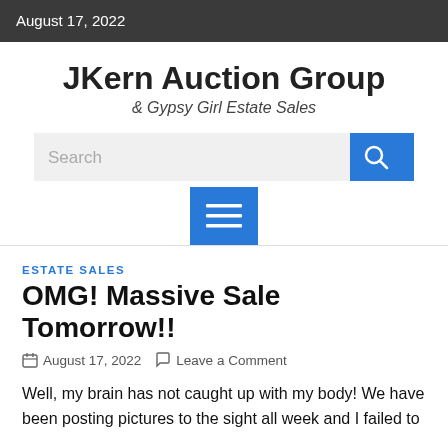August 17, 2022
JKern Auction Group
& Gypsy Girl Estate Sales
ESTATE SALES
OMG! Massive Sale Tomorrow!!
August 17, 2022   Leave a Comment
Well, my brain has not caught up with my body!  We have been posting pictures to the sight all week and I failed to